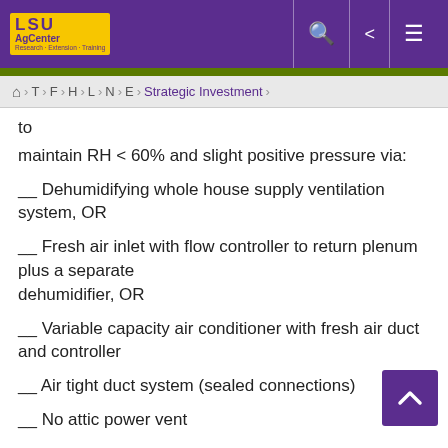LSU AgCenter — Navigation bar with search, share, and menu icons
Home > T > F > H > L > N > E > Strategic Investment
to
maintain RH < 60% and slight positive pressure via:
__ Dehumidifying whole house supply ventilation system, OR
__ Fresh air inlet with flow controller to return plenum plus a separate dehumidifier, OR
__ Variable capacity air conditioner with fresh air duct and controller
__ Air tight duct system (sealed connections)
__ No attic power vent